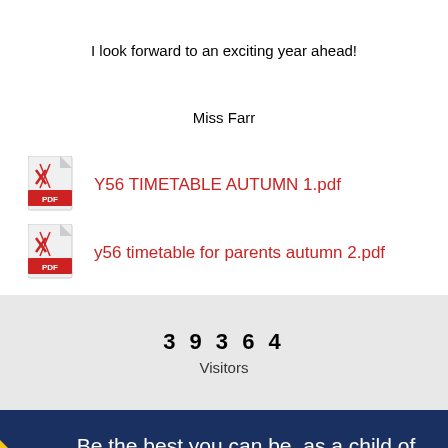I look forward to an exciting year ahead!
Miss Farr
Y56 TIMETABLE AUTUMN 1.pdf
y56 timetable for parents autumn 2.pdf
3 9 3 6 4
Visitors
Be the best you can be, as a child of God